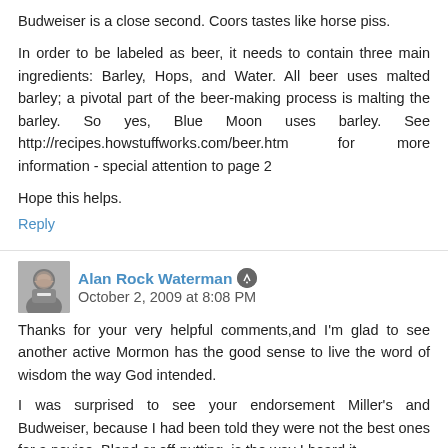Budweiser is a close second. Coors tastes like horse piss.
In order to be labeled as beer, it needs to contain three main ingredients: Barley, Hops, and Water. All beer uses malted barley; a pivotal part of the beer-making process is malting the barley. So yes, Blue Moon uses barley. See http://recipes.howstuffworks.com/beer.htm for more information - special attention to page 2
Hope this helps.
Reply
Alan Rock Waterman · October 2, 2009 at 8:08 PM
Thanks for your very helpful comments,and I'm glad to see another active Mormon has the good sense to live the word of wisdom the way God intended.
I was surprised to see your endorsement Miller's and Budweiser, because I had been told they were not the best ones for a novice. Bland or off-putting, is the way I heard it.